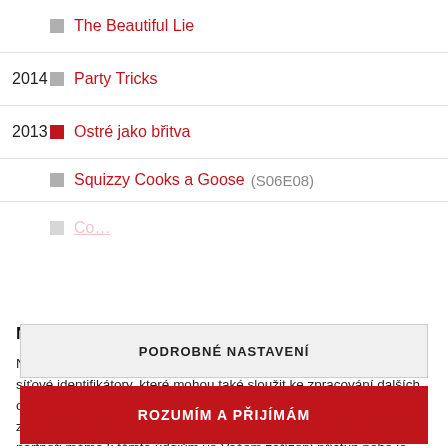The Beautiful Lie
2014 Party Tricks
2013 Ostré jako břitva
Squizzy Cooks a Goose (S06E08)
Nastavení soukromí
Na těchto webových stránkách se používají soubory cookies a další síťové identifikátory, které mohou také sloužit ke zpracování dalších osobních údajů (např. jak procházíte naše stránky, jaký obsah Vás zajímá a také volby, které provedete pomocí tohoto okna). My a naši partneři máme k těmto údajům ve Vašem zařízení přístup nebo je ukládáme. Tyto údaje nám pomáhají provozovat a zlepšovat naše služby. Můžeme Vám také doporučovat obsah a zobrazovat reklamy na základě Vašich preferencí. Pro
PODROBNÉ NASTAVENÍ
ROZUMÍM A PŘIJÍMÁM